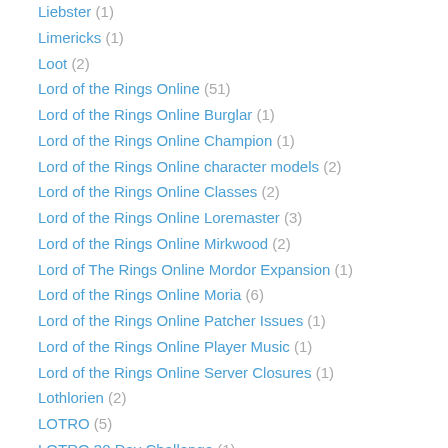Liebster (1)
Limericks (1)
Loot (2)
Lord of the Rings Online (51)
Lord of the Rings Online Burglar (1)
Lord of the Rings Online Champion (1)
Lord of the Rings Online character models (2)
Lord of the Rings Online Classes (2)
Lord of the Rings Online Loremaster (3)
Lord of the Rings Online Mirkwood (2)
Lord of The Rings Online Mordor Expansion (1)
Lord of the Rings Online Moria (6)
Lord of the Rings Online Patcher Issues (1)
Lord of the Rings Online Player Music (1)
Lord of the Rings Online Server Closures (1)
Lothlorien (2)
LOTRO (5)
LOTRO 30 Day Challenge (1)
LOTRO and Mobile (1)
LOTRO Epic Quests (1)